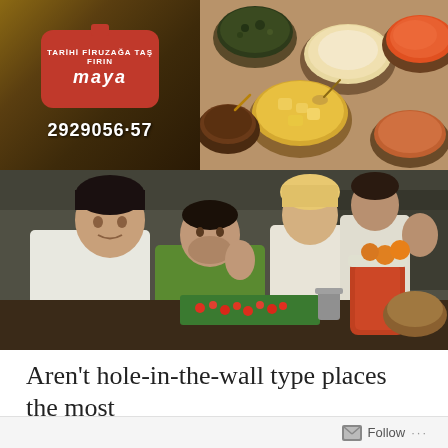[Figure (photo): Photo collage: top-left shows a wooden sign with red Turkish restaurant logo reading 'Mata Maya' (Tarihi Firuzağa Taş Fırın) and phone number 2929056-57; top-right shows several ceramic bowls of Turkish meze dishes on a wooden table; bottom shows kitchen staff (4 people) posing and waving in a restaurant kitchen with food prep visible.]
Aren't hole-in-the-wall type places the most
Follow